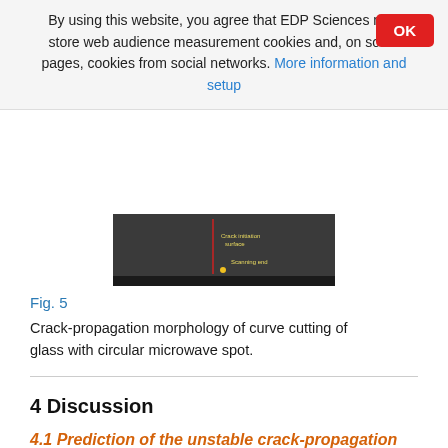By using this website, you agree that EDP Sciences may store web audience measurement cookies and, on some pages, cookies from social networks. More information and setup
[Figure (photo): Photograph showing crack-propagation morphology of curve cutting of glass with circular microwave spot. Dark background with annotations in yellow text indicating crack initiation point and scanning end.]
Fig. 5
Crack-propagation morphology of curve cutting of glass with circular microwave spot.
4 Discussion
4.1 Prediction of the unstable crack-propagation in initial stage
The irregular crack-propagation phenomena shown in Figure